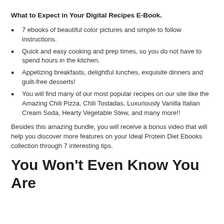What to Expect in Your Digital Recipes E-Book.
7 ebooks of beautiful color pictures and simple to follow instructions.
Quick and easy cooking and prep times, so you do not have to spend hours in the kitchen.
Appetizing breakfasts, delightful lunches, exquisite dinners and guilt-free desserts!
You will find many of our most popular recipes on our site like the Amazing Chili Pizza, Chili Tostadas, Luxuriously Vanilla Italian Cream Soda, Hearty Vegetable Stew, and many more!!
Besides this amazing bundle, you will receive a bonus video that will help you discover more features on your Ideal Protein Diet Ebooks collection through 7 interesting tips.
You Won't Even Know You Are